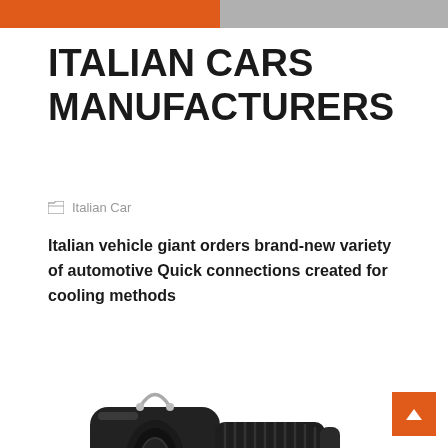ITALIAN CARS MANUFACTURERS
ITALIAN CARS MANUFACTURERS
Italian Car
Italian vehicle giant orders brand-new variety of automotive Quick connections created for cooling methods
[Figure (photo): Black automotive quick connector fitting with metal clip and threaded end, used for cooling systems]